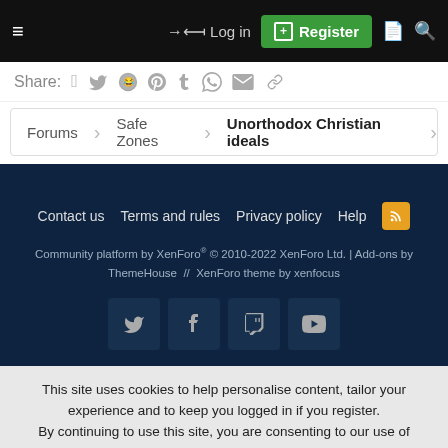≡  Log in  Register
Share: (social icons: Facebook, Twitter, Reddit, Pinterest, Tumblr, WhatsApp, Email, Link)
Forums  >  Safe Zones  >  Unorthodox Christian ideals
Contact us  Terms and rules  Privacy policy  Help  (RSS icon)
Community platform by XenForo® © 2010-2022 XenForo Ltd. | Add-ons by ThemeHouse // XenForo theme by xenfocus
(Twitter, Facebook, Twitch, YouTube icons)
This site uses cookies to help personalise content, tailor your experience and to keep you logged in if you register.
By continuing to use this site, you are consenting to our use of cookies.
[Accept]  [Learn more...]